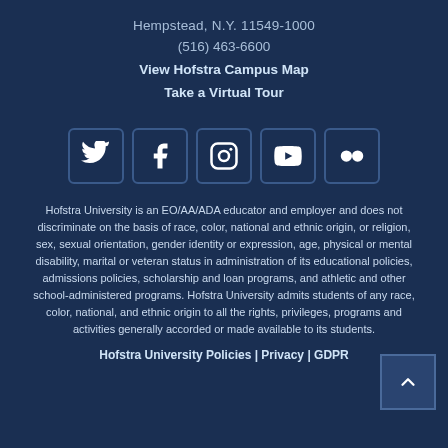Hempstead, N.Y. 11549-1000
(516) 463-6600
View Hofstra Campus Map
Take a Virtual Tour
[Figure (infographic): Row of five social media icons: Twitter, Facebook, Instagram, YouTube, Flickr — white icons in dark navy rounded square boxes]
Hofstra University is an EO/AA/ADA educator and employer and does not discriminate on the basis of race, color, national and ethnic origin, or religion, sex, sexual orientation, gender identity or expression, age, physical or mental disability, marital or veteran status in administration of its educational policies, admissions policies, scholarship and loan programs, and athletic and other school-administered programs. Hofstra University admits students of any race, color, national, and ethnic origin to all the rights, privileges, programs and activities generally accorded or made available to its students.
Hofstra University Policies | Privacy | GDPR